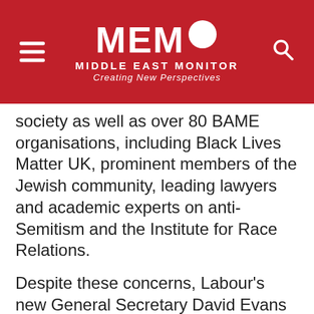MEMO MIDDLE EAST MONITOR — Creating New Perspectives
society as well as over 80 BAME organisations, including Black Lives Matter UK, prominent members of the Jewish community, leading lawyers and academic experts on anti-Semitism and the Institute for Race Relations.
Despite these concerns, Labour's new General Secretary David Evans recently wrote to all Constituency Labour Party (CLPs) proscribing any debate or discussion about the definition.
The letter notes that the signatories had previously expressed their fears over "how the space to publicly bring the facts of the